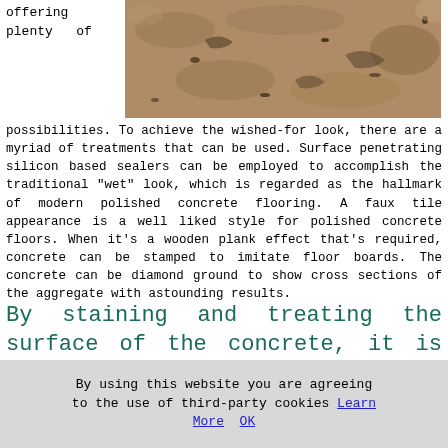offering plenty of
[Figure (photo): Close-up photo of polished concrete or stone surface showing textured aggregate with reddish-brown and beige tones]
possibilities. To achieve the wished-for look, there are a myriad of treatments that can be used. Surface penetrating silicon based sealers can be employed to accomplish the traditional "wet" look, which is regarded as the hallmark of modern polished concrete flooring. A faux tile appearance is a well liked style for polished concrete floors. When it's a wooden plank effect that's required, concrete can be stamped to imitate floor boards. The concrete can be diamond ground to show cross sections of the aggregate with astounding results.
By staining and treating the surface of the concrete, it is easy to end up with almost any coloration or
By using this website you are agreeing to the use of third-party cookies Learn More  OK